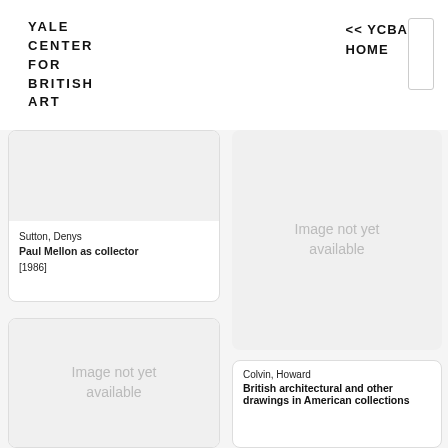YALE CENTER FOR BRITISH ART
<< YCBA HOME
Sutton, Denys
Paul Mellon as collector
[1986]
[Figure (illustration): Image not yet available placeholder (light gray)]
[Figure (illustration): Image not yet available placeholder (light gray), bottom left card]
[Figure (illustration): Image not yet available placeholder (right top card)]
Colvin, Howard
British architectural and other drawings in American collections